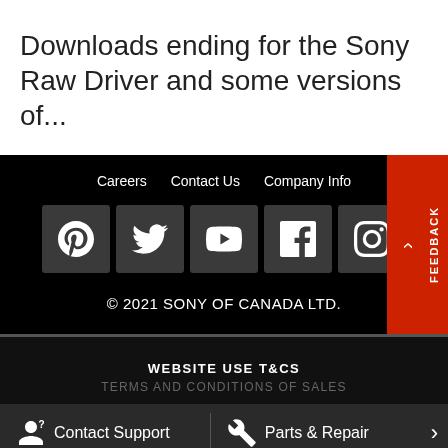Downloads ending for the Sony Raw Driver and some versions of...
Careers  Contact Us  Company Info
[Figure (other): Social media icons: Pinterest, Twitter, YouTube, Facebook, Instagram]
© 2021 SONY OF CANADA LTD.
WEBSITE USE T&CS
TERMS AND CONDITIONS OF SALES
Contact Support
Parts & Repair